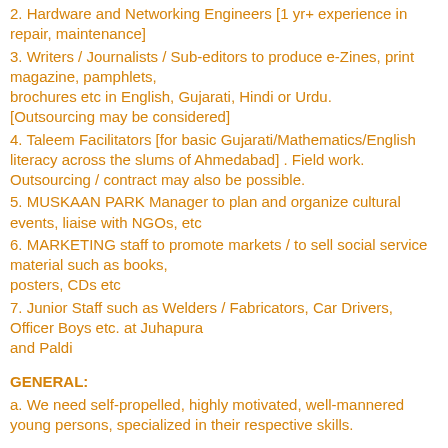2. Hardware and Networking Engineers [1 yr+ experience in repair, maintenance]
3. Writers / Journalists / Sub-editors to produce e-Zines, print magazine, pamphlets, brochures etc in English, Gujarati, Hindi or Urdu. [Outsourcing may be considered]
4. Taleem Facilitators [for basic Gujarati/Mathematics/English literacy across the slums of Ahmedabad] . Field work. Outsourcing / contract may also be possible.
5. MUSKAAN PARK Manager to plan and organize cultural events, liaise with NGOs, etc
6. MARKETING staff to promote markets / to sell social service material such as books, posters, CDs etc
7. Junior Staff such as Welders / Fabricators, Car Drivers, Officer Boys etc. at Juhapura and Paldi
GENERAL:
a. We need self-propelled, highly motivated, well-mannered young persons, specialized in their respective skills.